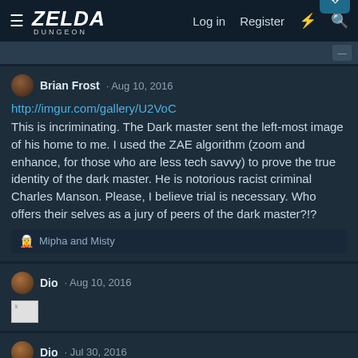ZELDA DUNGEON — Log in  Register
Brian Frost · Aug 10, 2016
http://imgur.com/gallery/U2VoC
This is incriminating. The Dark master sent the left-most image of his home to me. I used the ZAE algorithm (zoom and enhance, for those who are less tech savvy) to prove the true identity of the dark master. He is notorious racist criminal Charles Manson. Please, I believe trial is necessary. Who offers their selves as a jury of peers of the dark master?!?
Mipha and Misty
Dio · Aug 10, 2016
[Figure (other): Broken image placeholder]
Dio · Jul 30, 2016